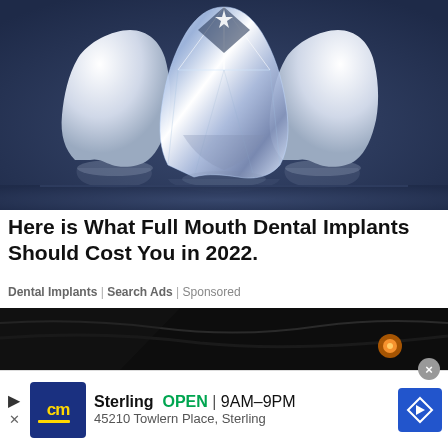[Figure (photo): Three molar teeth on a dark navy blue background — two white ceramic/porcelain teeth flanking a center crystal/diamond tooth, all with reflections on a glossy surface.]
Here is What Full Mouth Dental Implants Should Cost You in 2022.
Dental Implants | Search Ads | Sponsored
[Figure (photo): Partial view of a dark image, appears to be a car interior or dark background with a small orange/yellow circular light element visible on the right side.]
Sterling  OPEN  9AM–9PM  45210 Towlern Place, Sterling